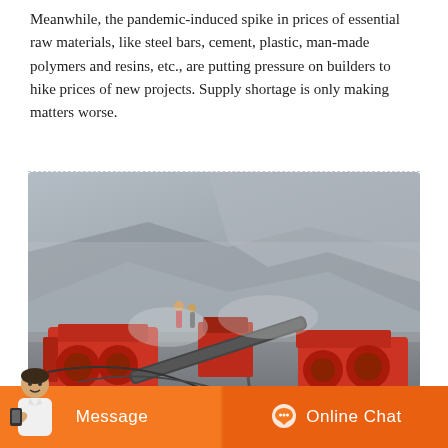Meanwhile, the pandemic-induced spike in prices of essential raw materials, like steel bars, cement, plastic, man-made polymers and resins, etc., are putting pressure on builders to hike prices of new projects. Supply shortage is only making matters worse.
[Figure (photo): Industrial mining or quarrying site with large red crushing/processing machinery, conveyor belts, rock piles, dust, and workers in the background against a rocky hillside.]
Message
Online Chat